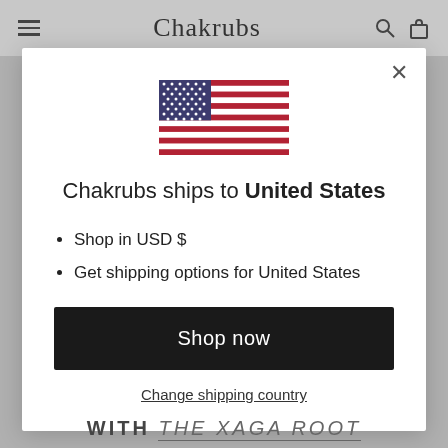Chakrubs
[Figure (illustration): US flag SVG illustration]
Chakrubs ships to United States
Shop in USD $
Get shipping options for United States
Shop now
Change shipping country
WITH THE XAGA ROOT